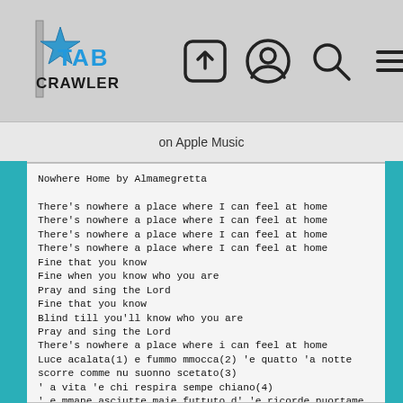[Figure (logo): Tab Crawler logo with star graphic]
on Apple Music
Nowhere Home by Almamegretta

There's nowhere a place where I can feel at home
There's nowhere a place where I can feel at home
There's nowhere a place where I can feel at home
There's nowhere a place where I can feel at home
Fine that you know
Fine when you know who you are
Pray and sing the Lord
Fine that you know
Blind till you'll know who you are
Pray and sing the Lord
There's nowhere a place where i can feel at home
Luce acalata(1) e fummo mmocca(2) 'e quatto 'a notte scorre comme nu suonno scetato(3)
' a vita 'e chi respira sempe chiano(4)
' e mmane asciutte maie futtuto d' 'e ricorde puortame ncuollo comme 'na quarantacinche scarica pe sparà nfaccia 'e penziere che te menano(5) nterra
essa era bella comme na luna sicura
m'a faccio dint'o scuro c'o sole areto(6) 'a porta 'e